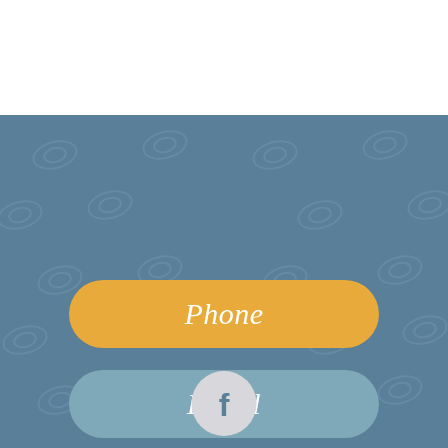[Figure (infographic): Contact buttons UI on a slate blue background with decorative swirl pattern. Three pill-shaped buttons: 'Phone' in golden yellow, 'Email' in muted teal, 'Directions' in light gray. A Facebook circle icon at the bottom.]